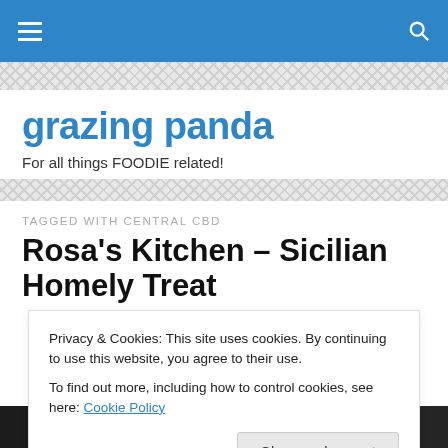grazing panda
For all things FOODIE related!
TAGGED WITH CENTRAL CBD
Rosa’s Kitchen – Sicilian Homely Treat
Privacy & Cookies: This site uses cookies. By continuing to use this website, you agree to their use. To find out more, including how to control cookies, see here: Cookie Policy
[Figure (photo): Two dark food photos side by side at the bottom of the page]